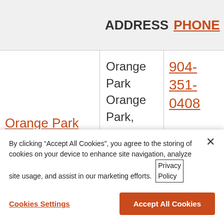|  | ADDRESS | PHONE |
| --- | --- | --- |
| Orange Park | Orange Park
Orange Park, FL 32073
United States | 904-351-0408 |
| Palm Beach | 809 NW 57th Street
Fort Lauderdale, | 954-280- |
By clicking "Accept All Cookies", you agree to the storing of cookies on your device to enhance site navigation, analyze site usage, and assist in our marketing efforts. Privacy Policy
Cookies Settings | Accept All Cookies